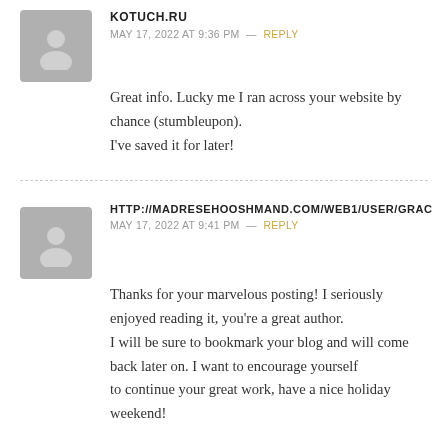KOTUCH.RU
MAY 17, 2022 AT 9:36 PM — REPLY
Great info. Lucky me I ran across your website by chance (stumbleupon).
I've saved it for later!
HTTP://MADRESEHOOSHMAND.COM/WEB1/USER/GRAC
MAY 17, 2022 AT 9:41 PM — REPLY
Thanks for your marvelous posting! I seriously enjoyed reading it, you're a great author.
I will be sure to bookmark your blog and will come back later on. I want to encourage yourself
to continue your great work, have a nice holiday weekend!